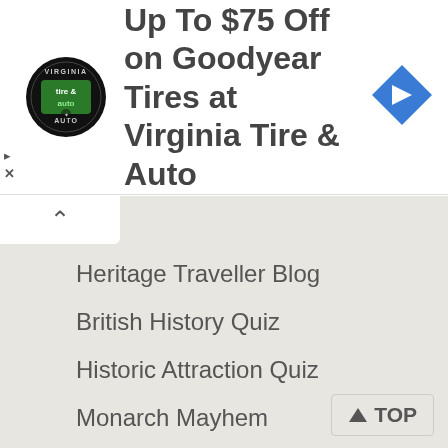[Figure (screenshot): Advertisement banner: Virginia Tire & Auto logo (circular black badge with green 'tire & auto' text), ad text 'Up To $75 Off on Goodyear Tires at Virginia Tire & Auto', blue diamond navigation arrow icon on right. Small play and X icons on far left.]
Heritage Traveller Blog
British History Quiz
Historic Attraction Quiz
Monarch Mayhem
This Day in British History
Useful stuff
Contact Us
Privacy
About Britain Express